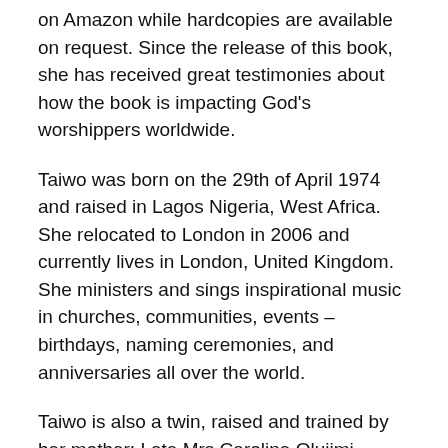on Amazon while hardcopies are available on request. Since the release of this book, she has received great testimonies about how the book is impacting God's worshippers worldwide.
Taiwo was born on the 29th of April 1974 and raised in Lagos Nigeria, West Africa. She relocated to London in 2006 and currently lives in London, United Kingdom. She ministers and sings inspirational music in churches, communities, events – birthdays, naming ceremonies, and anniversaries all over the world.
Taiwo is also a twin, raised and trained by her mother: Late Mrs Caroline Olujimi Oluwole who also loved praising and worshipping God, singing hymns in particular.